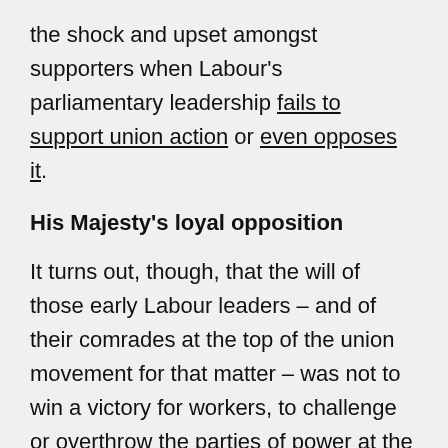the shock and upset amongst supporters when Labour's parliamentary leadership fails to support union action or even opposes it.
His Majesty's loyal opposition
It turns out, though, that the will of those early Labour leaders – and of their comrades at the top of the union movement for that matter – was not to win a victory for workers, to challenge or overthrow the parties of power at the time, to replace or diminish the landowner and business elites, or even to offer a pro-worker counterweight in the Commons. The